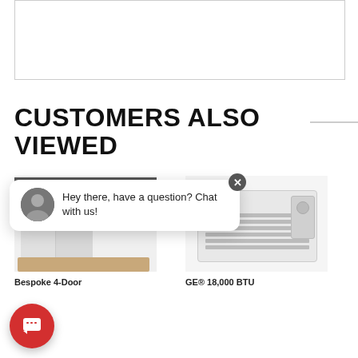[Figure (other): Empty white box with border — product image placeholder at top of page]
CUSTOMERS ALSO VIEWED
[Figure (photo): Samsung Bespoke 4-Door refrigerator product image]
Bespoke 4-Door
[Figure (photo): GE 18,000 BTU air conditioner unit product image]
GE® 18,000 BTU
[Figure (other): Live chat widget overlay showing avatar photo and message 'Hey there, have a question? Chat with us!' with close button]
[Figure (other): Red circular chat button with message icon in lower left corner]